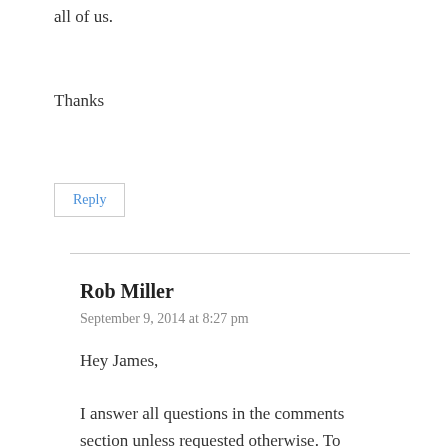all of us.
Thanks
Reply
Rob Miller
September 9, 2014 at 8:27 pm
Hey James,
I answer all questions in the comments section unless requested otherwise. To